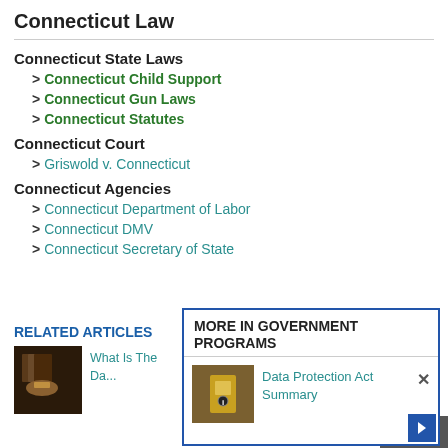Connecticut Law
Connecticut State Laws
> Connecticut Child Support
> Connecticut Gun Laws
> Connecticut Statutes
Connecticut Court
> Griswold v. Connecticut
Connecticut Agencies
> Connecticut Department of Labor
> Connecticut DMV
> Connecticut Secretary of State
MORE IN GOVERNMENT PROGRAMS
Data Protection Act Summary
RELATED ARTICLES
What Is The Da...